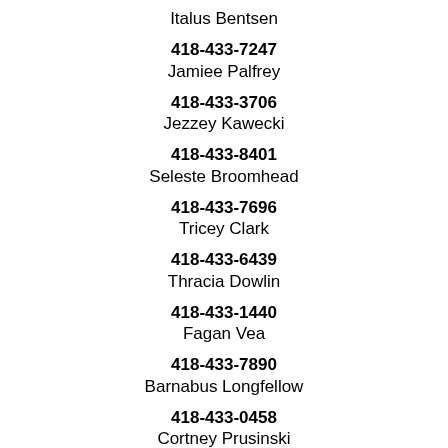Italus Bentsen
418-433-7247
Jamiee Palfrey
418-433-3706
Jezzey Kawecki
418-433-8401
Seleste Broomhead
418-433-7696
Tricey Clark
418-433-6439
Thracia Dowlin
418-433-1440
Fagan Vea
418-433-7890
Barnabus Longfellow
418-433-0458
Cortney Prusinski